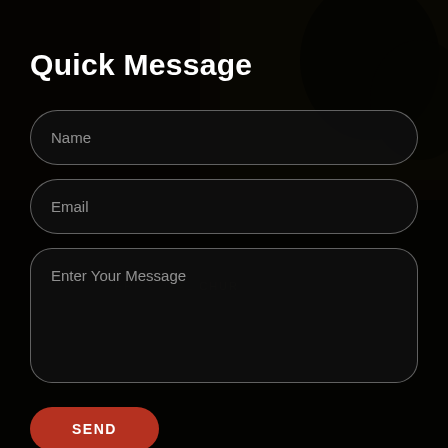[Figure (photo): Dark background photo of a building exterior, likely an Episcopal church, with trees visible. The image is heavily darkened with a near-black overlay.]
Quick Message
Name
Email
Enter Your Message
SEND